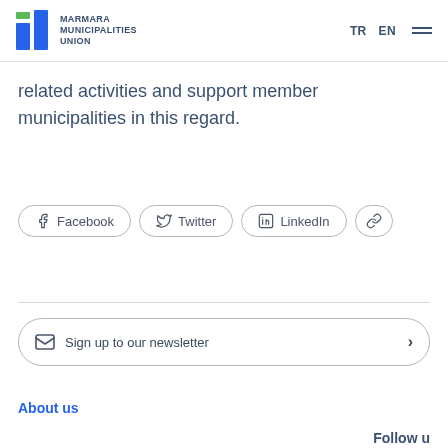MARMARA MUNICIPALITIES UNION | TR EN
related activities and support member municipalities in this regard.
Facebook
Twitter
LinkedIn
Sign up to our newsletter
About us